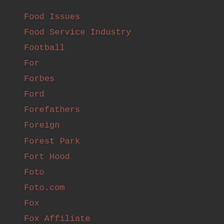Food Issues
Food Service Industry
Football
For
Forbes
Ford
Forefathers
Foreign
Forest Park
Fort Hood
Foto
Foto.com
Fox
Fox Affiliate
Fox News
Fox Radio
France
Frank And Helen's
Fred
Free Agents